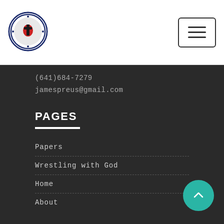[Figure (logo): Lutheran rose / cross circular logo in blue and white]
[Figure (other): Hamburger menu button with three horizontal lines]
(641)684-7279
jamespreus@gmail.com
PAGES
Papers
Wrestling with God
Home
About